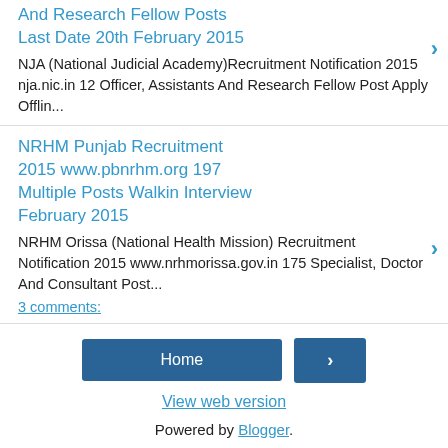And Research Fellow Posts Last Date 20th February 2015
NJA (National Judicial Academy)Recruitment Notification 2015 nja.nic.in 12 Officer, Assistants And Research Fellow Post Apply Offlin...
NRHM Punjab Recruitment 2015 www.pbnrhm.org 197 Multiple Posts Walkin Interview February 2015
NRHM Orissa (National Health Mission) Recruitment Notification 2015 www.nrhmorissa.gov.in 175 Specialist, Doctor And Consultant Post...
3 comments:
Home
View web version
Powered by Blogger.